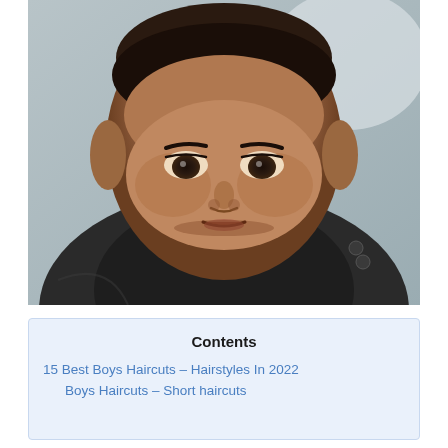[Figure (photo): Close-up photo of a young Black boy in a barber's chair wearing a dark barber cape with white collar, looking slightly downward. His hair is freshly cut very short/buzz cut. The background shows a barbershop interior.]
Contents
15 Best Boys Haircuts – Hairstyles In 2022
Boys Haircuts – Short haircuts